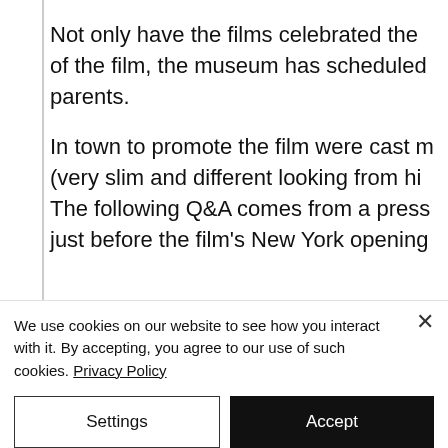Not only have the films celebrated the of the film, the museum has scheduled parents.
In town to promote the film were cast m (very slim and different looking from hi The following Q&A comes from a press just before the film's New York opening
[Figure (photo): A dark-toned horizontal photograph strip showing two sections: left portion with dark, shadowy tones in browns and grays, right portion lighter with pale/cream tones.]
We use cookies on our website to see how you interact with it. By accepting, you agree to our use of such cookies. Privacy Policy